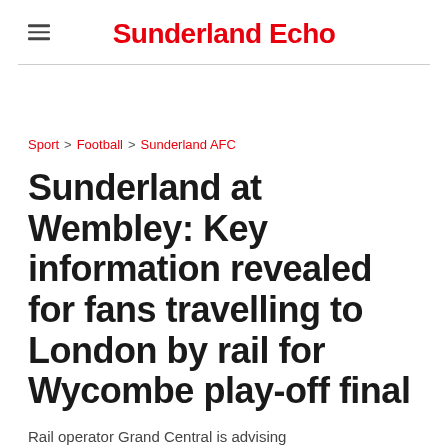Sunderland Echo
Sport > Football > Sunderland AFC
Sunderland at Wembley: Key information revealed for fans travelling to London by rail for Wycombe play-off final
Rail operator Grand Central is advising